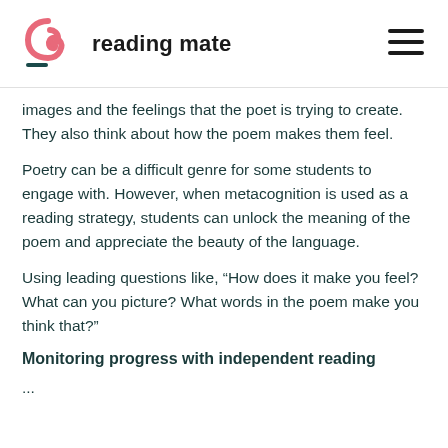reading mate
images and the feelings that the poet is trying to create. They also think about how the poem makes them feel.
Poetry can be a difficult genre for some students to engage with. However, when metacognition is used as a reading strategy, students can unlock the meaning of the poem and appreciate the beauty of the language.
Using leading questions like, “How does it make you feel? What can you picture? What words in the poem make you think that?”
Monitoring progress with independent reading
...